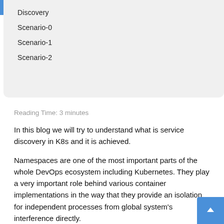Discovery
Scenario-0
Scenario-1
Scenario-2
Reading Time: 3 minutes
In this blog we will try to understand what is service discovery in K8s and it is achieved.
Namespaces are one of the most important parts of the whole DevOps ecosystem including Kubernetes. They play a very important role behind various container implementations in the way that they provide an isolation for independent processes from global system's interference directly.